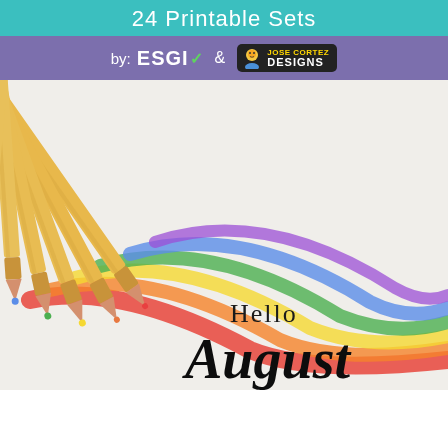24 Printable Sets
by: ESGI & JOSE CORTEZ DESIGNS
[Figure (photo): Photo of colored pencils arranged in a fan with rainbow color stripes drawn on white paper, overlaid with 'Hello August' text in script font]